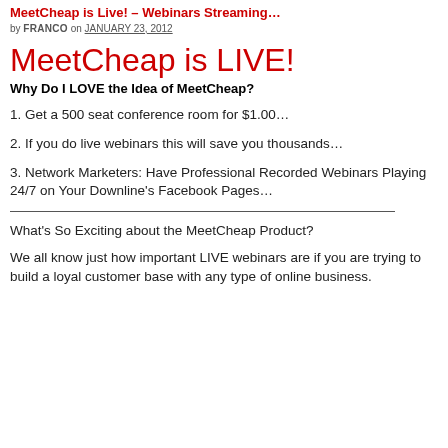MeetCheap is Live! – Webinars Streaming…
by FRANCO on JANUARY 23, 2012
MeetCheap is LIVE!
Why Do I LOVE the Idea of MeetCheap?
1. Get a 500 seat conference room for $1.00…
2. If you do live webinars this will save you thousands…
3. Network Marketers: Have Professional Recorded Webinars Playing 24/7 on Your Downline's Facebook Pages…
What's So Exciting about the MeetCheap Product?
We all know just how important LIVE webinars are if you are trying to build a loyal customer base with any type of online business.